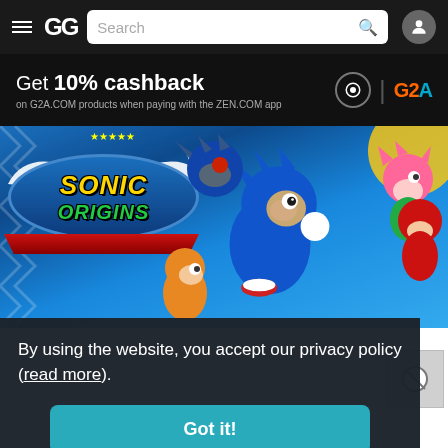[Figure (screenshot): G2A website navigation bar with hamburger menu, GG logo, search bar, and user account icon on dark background]
[Figure (infographic): Promotional cashback banner: Get 10% cashback on G2A.COM products when paying with the ZEN.COM app, with ZEN and G2A logos]
[Figure (illustration): Sonic Origins game banner showing Sonic the Hedgehog characters (Sonic, Tails, Knuckles, Amy, Metal Sonic) on blue background with Sonic Origins logo]
By using the website, you accept our privacy policy (read more).
[Figure (other): Got it! button - teal/cyan colored button for accepting privacy policy]